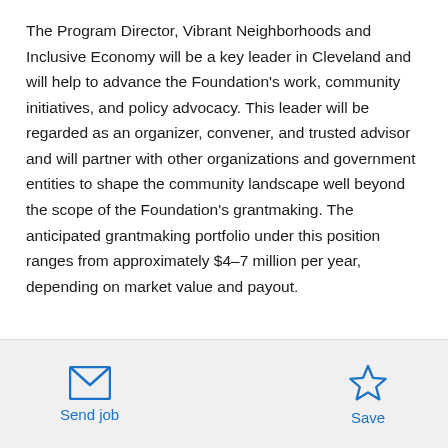The Program Director, Vibrant Neighborhoods and Inclusive Economy will be a key leader in Cleveland and will help to advance the Foundation's work, community initiatives, and policy advocacy. This leader will be regarded as an organizer, convener, and trusted advisor and will partner with other organizations and government entities to shape the community landscape well beyond the scope of the Foundation's grantmaking. The anticipated grantmaking portfolio under this position ranges from approximately $4–7 million per year, depending on market value and payout.
[Figure (other): Send job button with envelope icon and Save button with star icon at the bottom of the page]